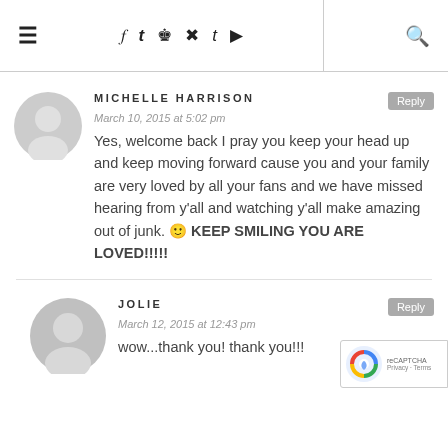≡  f  t  [instagram]  [pinterest]  t  [youtube]  [search]
MICHELLE HARRISON
March 10, 2015 at 5:02 pm
Yes, welcome back I pray you keep your head up and keep moving forward cause you and your family are very loved by all your fans and we have missed hearing from y'all and watching y'all make amazing out of junk. 🙂 KEEP SMILING YOU ARE LOVED!!!!!
JOLIE
March 12, 2015 at 12:43 pm
wow...thank you! thank you!!!